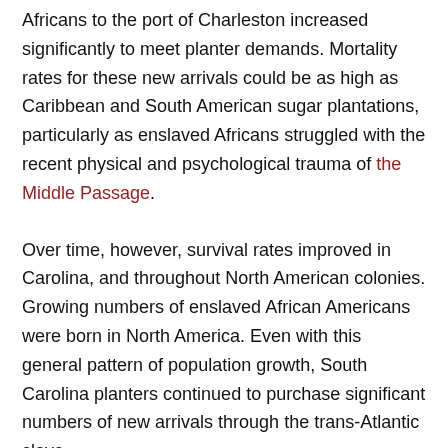Africans to the port of Charleston increased significantly to meet planter demands. Mortality rates for these new arrivals could be as high as Caribbean and South American sugar plantations, particularly as enslaved Africans struggled with the recent physical and psychological trauma of the Middle Passage.
Over time, however, survival rates improved in Carolina, and throughout North American colonies. Growing numbers of enslaved African Americans were born in North America. Even with this general pattern of population growth, South Carolina planters continued to purchase significant numbers of new arrivals through the trans-Atlantic slave